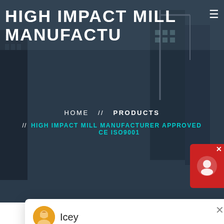HIGH IMPACT MILL MANUFACTU
HOME // PRODUCTS // HIGH IMPACT MILL MANUFACTURER APPROVED CE ISO9001
[Figure (screenshot): Chat popup with avatar of Icey, message: Welcome to Liming Heavy Industry! Now our on-line service is chatting with you! Please choose the la...]
[Figure (photo): Industrial machinery photograph showing a high impact mill in a factory setting]
1